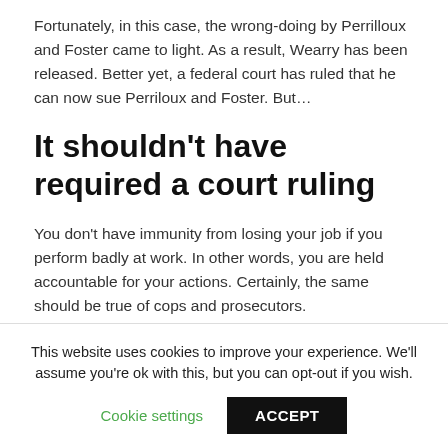Fortunately, in this case, the wrong-doing by Perrilloux and Foster came to light. As a result, Wearry has been released. Better yet, a federal court has ruled that he can now sue Perriloux and Foster. But…
It shouldn't have required a court ruling
You don't have immunity from losing your job if you perform badly at work. In other words, you are held accountable for your actions. Certainly, the same should be true of cops and prosecutors.
This website uses cookies to improve your experience. We'll assume you're ok with this, but you can opt-out if you wish.
Cookie settings   ACCEPT